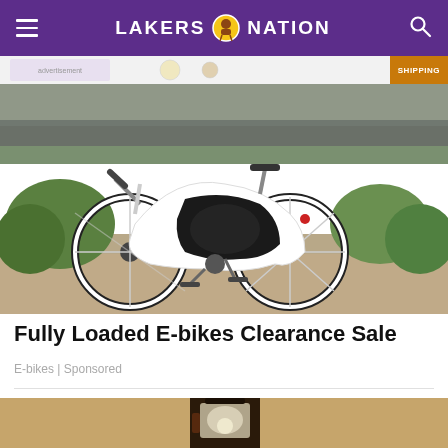LAKERS NATION
[Figure (photo): Advertisement banner strip with product imagery and SHIPPING badge]
[Figure (photo): White electric bicycle (e-bike) with large wheels parked outdoors under a bridge, surrounded by green shrubs and sandy ground]
Fully Loaded E-bikes Clearance Sale
E-bikes | Sponsored
[Figure (photo): Partial view of an outdoor wall-mounted lantern light fixture on a textured stucco wall]